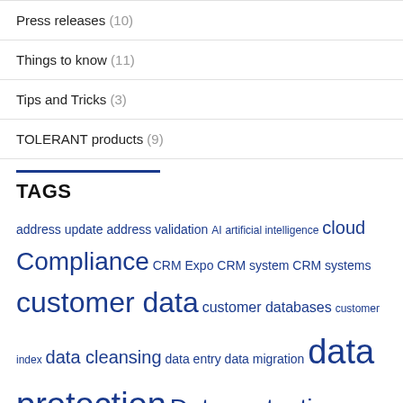Press releases (10)
Things to know (11)
Tips and Tricks (3)
TOLERANT products (9)
TAGS
address update address validation AI artificial intelligence cloud Compliance CRM Expo CRM system CRM systems customer data customer databases customer index data cleansing data entry data migration data protection Data protection consent data protection requests data quality data quality management DDV Robinson List duplicate duplicate